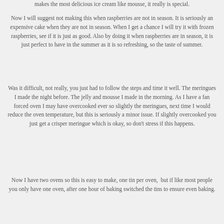makes the most delicious ice cream like mousse, it really is special.
Now I will suggest not making this when raspberries are not in season. It is seriously an expensive cake when they are not in season. When I get a chance I will try it with frozen raspberries, see if it is just as good. Also by doing it when raspberries are in season, it is just perfect to have in the summer as it is so refreshing, so the taste of summer.
Was it difficult, not really, you just had to follow the steps and time it well. The meringues I made the night before. The jelly and mousse I made in the morning. As I have a fan forced oven I may have overcooked ever so slightly the meringues, next time I would reduce the oven temperature, but this is seriously a minor issue. If slightly overcooked you just get a crisper meringue which is okay, so don't stress if this happens.
Now I have two ovens so this is easy to make, one tin per oven,  but if like most people you only have one oven, after one hour of baking switched the tins to ensure even baking.